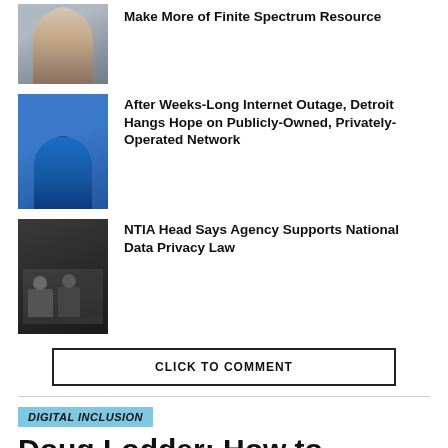[Figure (photo): Headshot of a man in a gray/neutral background]
Make More of Finite Spectrum Resource
[Figure (photo): Headshot of a young Black man in a blue shirt]
After Weeks-Long Internet Outage, Detroit Hangs Hope on Publicly-Owned, Privately-Operated Network
[Figure (photo): Panel discussion on a stage with dark curtain backdrop]
NTIA Head Says Agency Supports National Data Privacy Law
CLICK TO COMMENT
DIGITAL INCLUSION
Doug Lodder: How to Prevent the Economic Climate from Worsening